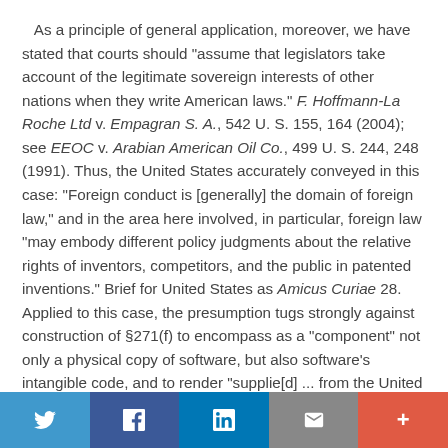As a principle of general application, moreover, we have stated that courts should "assume that legislators take account of the legitimate sovereign interests of other nations when they write American laws." F. Hoffmann-La Roche Ltd v. Empagran S. A., 542 U. S. 155, 164 (2004); see EEOC v. Arabian American Oil Co., 499 U. S. 244, 248 (1991). Thus, the United States accurately conveyed in this case: "Foreign conduct is [generally] the domain of foreign law," and in the area here involved, in particular, foreign law "may embody different policy judgments about the relative rights of inventors, competitors, and the public in patented inventions." Brief for United States as Amicus Curiae 28. Applied to this case, the presumption tugs strongly against construction of §271(f) to encompass as a "component" not only a physical copy of software, but also software's intangible code, and to render "supplie[d] ... from the United
Twitter | Facebook | LinkedIn | Email | More